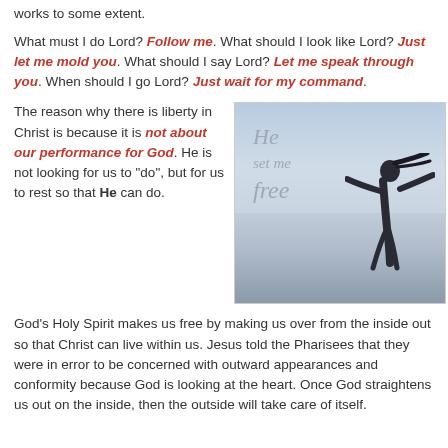works to some extent.
What must I do Lord? Follow me. What should I look like Lord? Just let me mold you. What should I say Lord? Let me speak through you. When should I go Lord? Just wait for my command.
The reason why there is liberty in Christ is because it is not about our performance for God. He is not looking for us to "do", but for us to rest so that He can do.
[Figure (photo): Photo of a woman in white with arms outstretched on a beach with cursive text overlay reading 'He set me free']
God's Holy Spirit makes us free by making us over from the inside out so that Christ can live within us. Jesus told the Pharisees that they were in error to be concerned with outward appearances and conformity because God is looking at the heart. Once God straightens us out on the inside, then the outside will take care of itself.